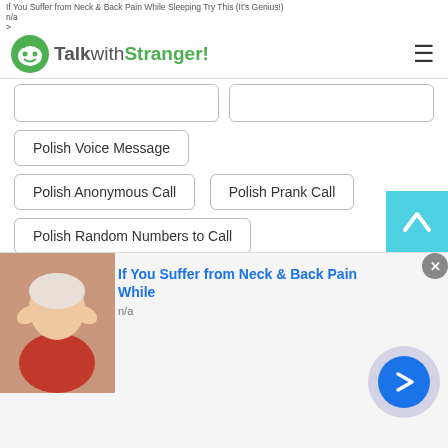If You Suffer from Neck & Back Pain While Sleeping Try This (It's Genius!)
n/a
>
TalkwithStranger!
Polish Voice Message
Polish Anonymous Call
Polish Prank Call
Polish Random Numbers to Call
Polish ICQ Chat
Polish Random audio chat with strangers
Polish Talk to strangers via audio calls
Polish Random voice calls with strangers
Polish Random voice chat with strangers
[Figure (screenshot): Scroll-to-top button (cyan/teal background with upward chevron arrow)]
[Figure (infographic): Advertisement banner: woman holding head in pain, text 'If You Suffer from Neck & Back Pain While', n/a label, blue arrow CTA button, close X button]